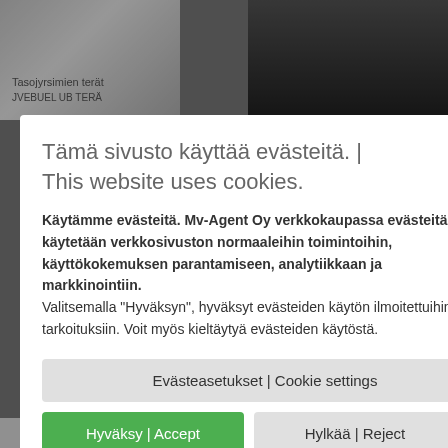[Figure (screenshot): Background of an e-commerce website showing product images of mower blades, a green shopping cart button with badge showing 0, a reCAPTCHA widget, and partial page content]
Tämä sivusto käyttää evästeitä. | This website uses cookies.
Käytämme evästeitä. Mv-Agent Oy verkkokaupassa evästeitä käytetään verkkosivuston normaaleihin toimintoihin, käyttökokemuksen parantamiseen, analytiikkaan ja markkinointiin.
Valitsemalla "Hyväksyn", hyväksyt evästeiden käytön ilmoitettuihin tarkoituksiin. Voit myös kieltäytyä evästeiden käytöstä.
Evästeasetukset | Cookie settings
Hyväksy | Accept
Hylkää | Reject